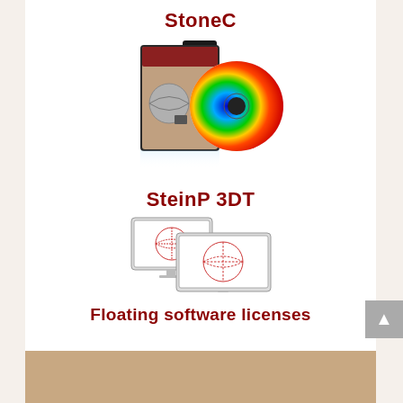StoneC
[Figure (photo): Software box set for StoneC product showing a physical DVD case with thermal analysis imagery and a CD disc with heat map visualization]
SteinP 3DT
[Figure (illustration): Two computer monitors showing SteinP 3DT software, each displaying a globe/sphere icon representing network or simulation software]
Floating software licenses